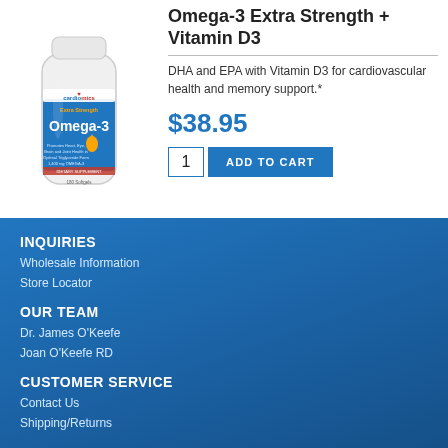[Figure (photo): White supplement bottle with blue label reading Omega-3, branded Cardiomics, Extra Strength]
Omega-3 Extra Strength + Vitamin D3
DHA and EPA with Vitamin D3 for cardiovascular health and memory support.*
$38.95
1  ADD TO CART
INQUIRIES
Wholesale Information
Store Locator
OUR TEAM
Dr. James O'Keefe
Joan O'Keefe RD
CUSTOMER SERVICE
Contact Us
Shipping/Returns